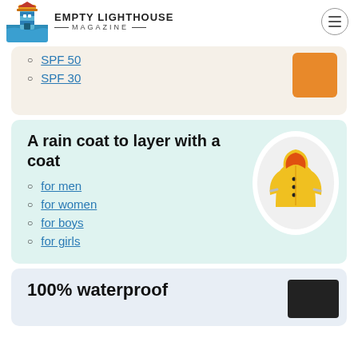EMPTY LIGHTHOUSE MAGAZINE
SPF 50
SPF 30
A rain coat to layer with a coat
for men
for women
for boys
for girls
100% waterproof